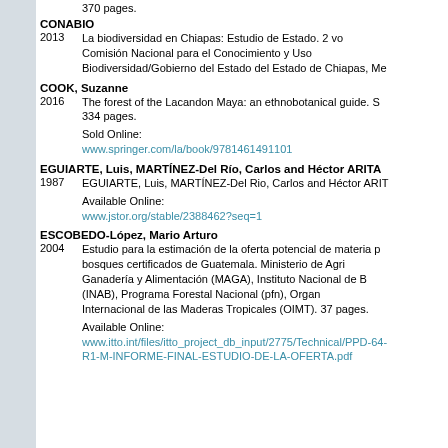370 pages.
CONABIO
2013   La biodiversidad en Chiapas: Estudio de Estado. 2 vo... Comisión Nacional para el Conocimiento y Uso ... Biodiversidad/Gobierno del Estado del Estado de Chiapas, Me...
COOK, Suzanne
2016   The forest of the Lacandon Maya: an ethnobotanical guide. S... 334 pages.
Sold Online:
www.springer.com/la/book/9781461491101
EGUIARTE, Luis, MARTÍNEZ-Del Río, Carlos and Héctor ARITA
1987   EGUIARTE, Luis, MARTÍNEZ-Del Rio, Carlos and Héctor ARIT...
Available Online:
www.jstor.org/stable/2388462?seq=1
ESCOBEDO-López, Mario Arturo
2004   Estudio para la estimación de la oferta potencial de materia p... bosques certificados de Guatemala. Ministerio de Agri... Ganadería y Alimentación (MAGA), Instituto Nacional de B... (INAB), Programa Forestal Nacional (pfn), Organ... Internacional de las Maderas Tropicales (OIMT). 37 pages.
Available Online:
www.itto.int/files/itto_project_db_input/2775/Technical/PPD-64-... R1-M-INFORME-FINAL-ESTUDIO-DE-LA-OFERTA.pdf